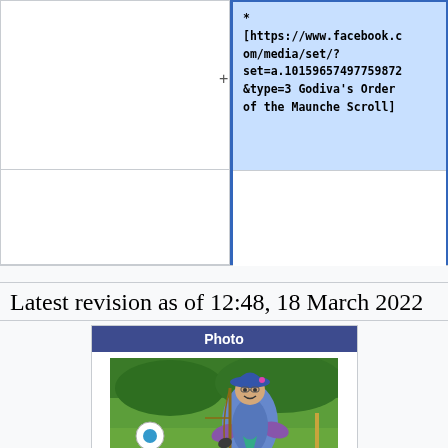* [https://www.facebook.com/media/set/?set=a.10159657497759872&type=3 Godiva's Order of the Maunche Scroll]
Latest revision as of 12:48, 18 March 2022
[Figure (photo): Photo of a person in a blue hat and purple/blue outfit holding archery equipment, standing in front of a green field with an archery target visible in the background.]